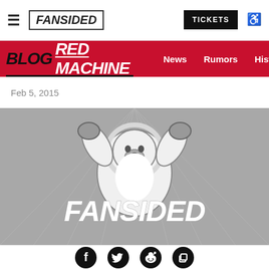FanSided | TICKETS
BLOG RED MACHINE | News | Rumors | History | All-
Feb 5, 2015
[Figure (logo): FanSided mascot logo — a polar bear in a fighting pose with arms raised, wearing boxing gloves, with 'FANSIDED' text below in bold italic white letters, on a gray stadium background]
[Figure (infographic): Social share icons row: Facebook (f), Twitter (bird), Reddit (alien), Copy/share (overlapping squares) — all white icons on black circles]